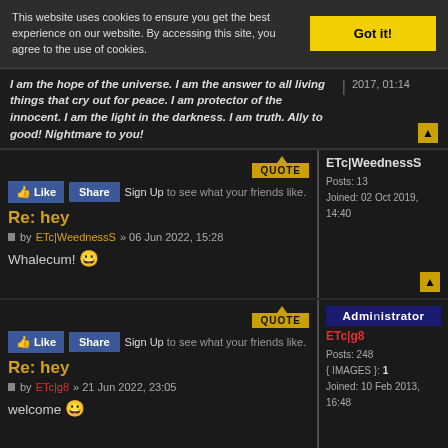This website uses cookies to ensure you get the best experience on our website. By accessing this site, you agree to the use of cookies.
Got it!
I am the hope of the universe. I am the answer to all living things that cry out for peace. I am protector of the innocent. I am the light in the darkness. I am truth. Ally to good! Nightmare to you!
2017, 01:14
QUOTE
Like  Share  Sign Up to see what your friends like.
Re: hey
by ETc|WeednessS » 06 Jun 2022, 15:28
Whalecum! 😀
ETc|WeednessS
Posts: 13
Joined: 02 Oct 2019, 14:40
QUOTE
Like  Share  Sign Up to see what your friends like.
Re: hey
by ETc|g8 » 21 Jun 2022, 23:05
welcome 😀
Administrator
ETc|g8
Posts: 248
{ IMAGES }: 1
Joined: 10 Feb 2013, 16:48